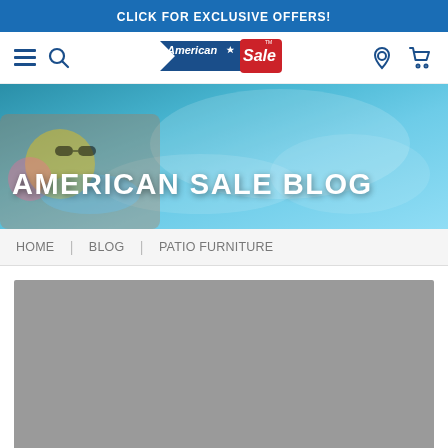CLICK FOR EXCLUSIVE OFFERS!
[Figure (logo): American Sale logo with blue arrow and red Sale badge]
[Figure (photo): Hero banner showing child swimming in pool with sunglasses, with text overlay AMERICAN SALE BLOG]
AMERICAN SALE BLOG
HOME | BLOG | PATIO FURNITURE
[Figure (photo): Gray placeholder image for a blog article]